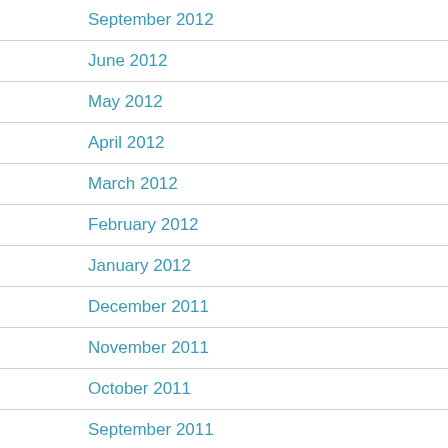September 2012
June 2012
May 2012
April 2012
March 2012
February 2012
January 2012
December 2011
November 2011
October 2011
September 2011